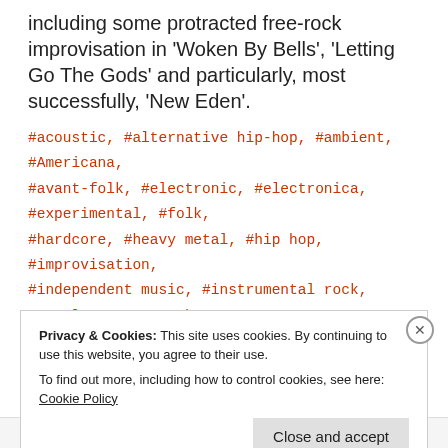including some protracted free-rock improvisation in 'Woken By Bells', 'Letting Go The Gods' and particularly, most successfully, 'New Eden'.
#acoustic, #alternative hip-hop, #ambient, #Americana, #avant-folk, #electronic, #electronica, #experimental, #folk, #hardcore, #heavy metal, #hip hop, #improvisation, #independent music, #instrumental rock, #metal, #rap, #rock, #roots rock, #singer songwriter, #sludge, #sludge metal, #underground hip-hop
Privacy & Cookies: This site uses cookies. By continuing to use this website, you agree to their use. To find out more, including how to control cookies, see here: Cookie Policy
Close and accept